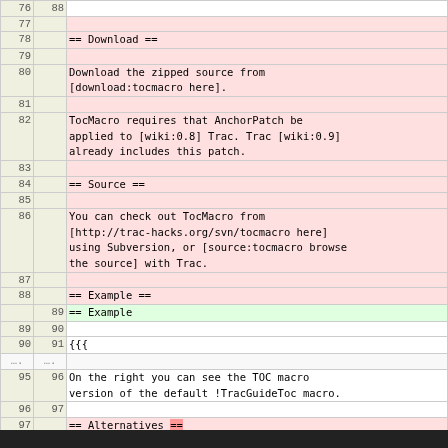| old line | new line | content |
| --- | --- | --- |
| 76 | 88 |  |
| 77 |  |  |
| 78 |  | == Download == |
| 79 |  |  |
| 80 |  | Download the zipped source from [download:tocmacro here]. |
| 81 |  |  |
| 82 |  | TocMacro requires that AnchorPatch be applied to [wiki:0.8] Trac. Trac [wiki:0.9] already includes this patch. |
| 83 |  |  |
| 84 |  | == Source == |
| 85 |  |  |
| 86 |  | You can check out TocMacro from [http://trac-hacks.org/svn/tocmacro here] using Subversion, or [source:tocmacro browse the source] with Trac. |
| 87 |  |  |
| 88 |  | == Example == |
|  | 89 | == Example |
| 89 | 90 |  |
| 90 | 91 | {{{ |
| .... | .... |  |
| 95 | 96 | On the right you can see the TOC macro version of the default !TracGuideToc macro. |
| 96 | 97 |  |
| 97 |  | == Alternatives == |
|  | 98 | == Alternatives |
| 98 | 99 |  |
| 99 |  | Trac 0.12 (maybe earlier?) has the [wiki:WikiMacros#PageOutline-macro PageOutline] macro built-in which can |